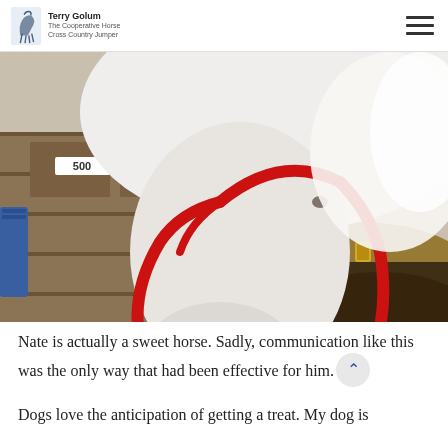Terry Golum | The Cooperative Horse Cross Country Jumper
[Figure (photo): Close-up photo of a white horse with a red halter and lead rope, nose pointed toward the camera, standing in a stable. A blue blanket hangs on a stall door to the left, stall number 500 visible in background.]
Nate is actually a sweet horse. Sadly, communication like this was the only way that had been effective for him.
Dogs love the anticipation of getting a treat. My dog is